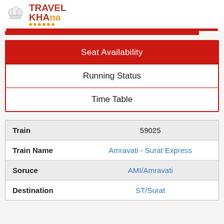[Figure (logo): TravelKhana logo with chef hat icon, red and orange colors]
| Seat Availability |
| Running Status |
| Time Table |
| Train | 59025 |
| Train Name | Amravati - Surat Express |
| Soruce | AMI/Amravati |
| Destination | ST/Surat |